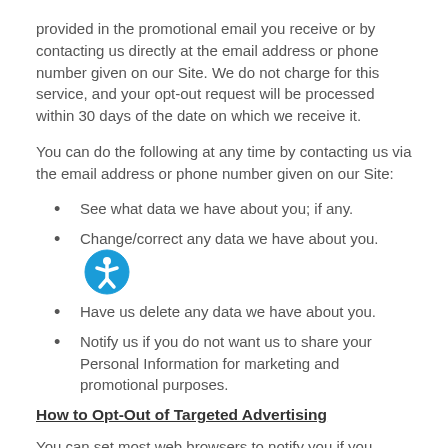provided in the promotional email you receive or by contacting us directly at the email address or phone number given on our Site. We do not charge for this service, and your opt-out request will be processed within 30 days of the date on which we receive it.
You can do the following at any time by contacting us via the email address or phone number given on our Site:
See what data we have about you; if any.
Change/correct any data we have about you.
Have us delete any data we have about you.
Notify us if you do not want us to share your Personal Information for marketing and promotional purposes.
How to Opt-Out of Targeted Advertising
You can set most web browsers to notify you if you receive a cookie, or you may choose to block cookies, though either of those actions may affect the use of our Site. If you prefer to not receive targeted advertising, you can opt out of some network advertising programmes that use your